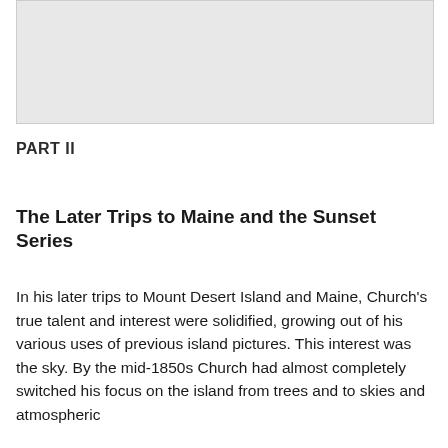[Figure (photo): A light gray rectangular image placeholder at the top of the page.]
PART II
The Later Trips to Maine and the Sunset Series
In his later trips to Mount Desert Island and Maine, Church's true talent and interest were solidified, growing out of his various uses of previous island pictures. This interest was the sky. By the mid-1850s Church had almost completely switched his focus on the island from trees and to skies and atmospheric